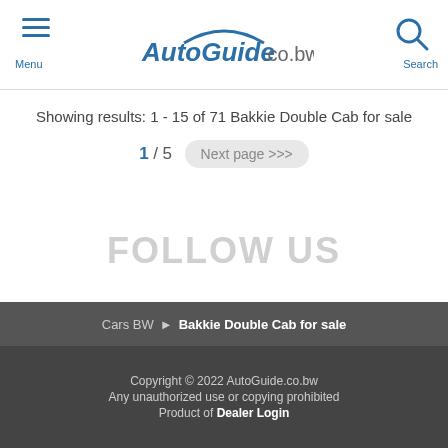Menu | AutoGuide.co.bw | Search
Showing results: 1 - 15 of 71 Bakkie Double Cab for sale
1 / 5  Next page >>>
FOLLOW US
Cars BW > Bakkie Double Cab for sale
Copyright © 2022 AutoGuide.co.bw
Any unauthorized use or copying prohibited
Product of Dealer Login